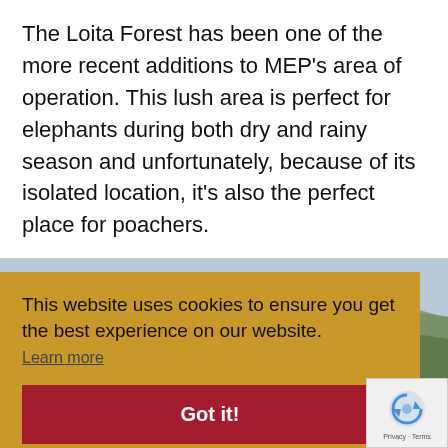The Loita Forest has been one of the more recent additions to MEP's area of operation. This lush area is perfect for elephants during both dry and rainy season and unfortunately, because of its isolated location, it's also the perfect place for poachers.
[Figure (photo): Landscape photo of green hills and forest, partially visible behind cookie consent banner]
This website uses cookies to ensure you get the best experience on our website.
Learn more
Got it!